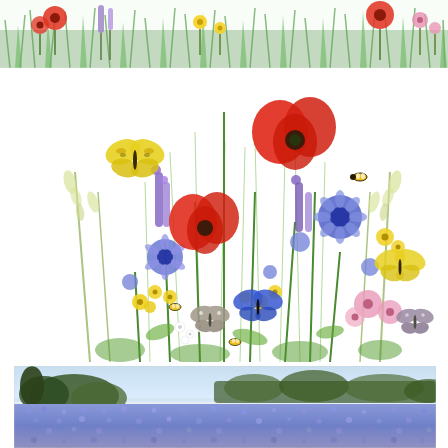[Figure (illustration): A decorative horizontal banner strip showing wildflowers and green grass/foliage including red poppies, purple lavender, yellow flowers, and pink blooms densely packed in a meadow border.]
[Figure (illustration): A botanical illustration of a wildflower meadow bouquet on white background featuring red poppies, blue/purple cornflowers and delphiniums, yellow flowers, pink flowers, green oat grass stems, bees, and butterflies (yellow, blue, brown/grey) in a naturalistic arrangement.]
[Figure (photo): A photograph of a wide open field covered in blue/purple flowers (likely borage or cornflowers) under a pale blue sky, with a row of trees visible on the horizon and a single tree cluster on the left side.]